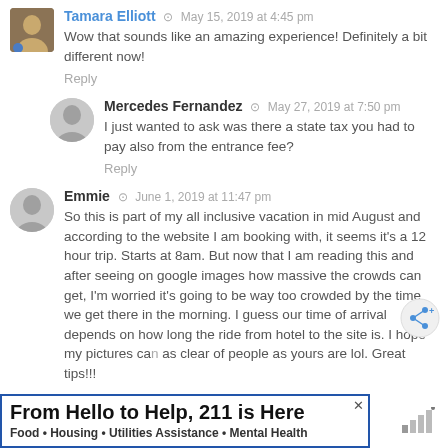[Figure (photo): Avatar photo of Tamara Elliott - a woman with brown hair]
Tamara Elliott · May 15, 2019 at 4:45 pm
Wow that sounds like an amazing experience! Definitely a bit different now!
Reply
[Figure (photo): Generic gray avatar silhouette for Mercedes Fernandez]
Mercedes Fernandez · May 27, 2019 at 7:50 pm
I just wanted to ask was there a state tax you had to pay also from the entrance fee?
Reply
[Figure (photo): Generic gray avatar silhouette for Emmie]
Emmie · June 1, 2019 at 11:47 pm
So this is part of my all inclusive vacation in mid August and according to the website I am booking with, it seems it's a 12 hour trip. Starts at 8am. But now that I am reading this and after seeing on google images how massive the crowds can get, I'm worried it's going to be way too crowded by the time we get there in the morning. I guess our time of arrival depends on how long the ride from hotel to the site is. I hope my pictures can be as clear of people as yours are lol. Great tips!!!
From Hello to Help, 211 is Here
Food • Housing • Utilities Assistance • Mental Health